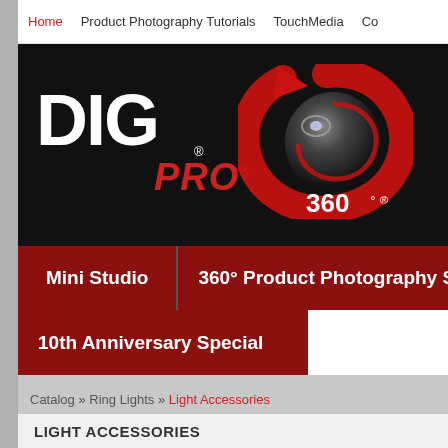Home | Product Photography Tutorials | TouchMedia | Co...
[Figure (logo): DIG PRO 360 logo on black background. Large white bold DIG text with red italic PRO text and registered trademark symbol. Red and dark spiral camera lens icon with 360° text.]
Mini Studio | 360° Product Photography Syste...
10th Anniversary Special
Catalog » Ring Lights » Light Accessories
LIGHT ACCESSORIES
Displaying 1 to 4 (of 4 products)